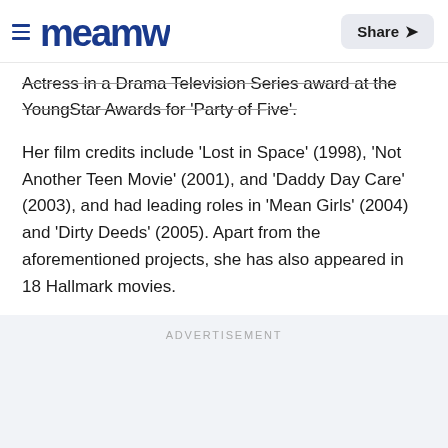Meanw | Share
Actress in a Drama Television Series award at the YoungStar Awards for ‘Party of Five’.
Her film credits include ‘Lost in Space’ (1998), ‘Not Another Teen Movie’ (2001), and ‘Daddy Day Care’ (2003), and had leading roles in ‘Mean Girls’ (2004) and ‘Dirty Deeds’ (2005). Apart from the aforementioned projects, she has also appeared in 18 Hallmark movies.
ADVERTISEMENT